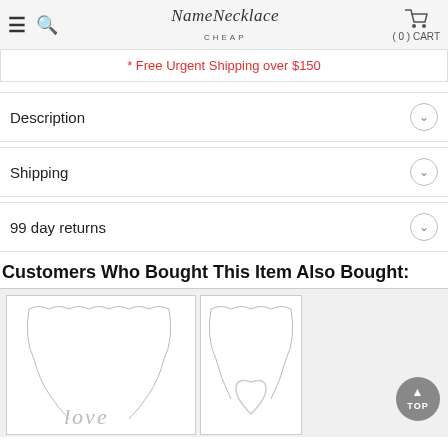NameNecklaceCheap — hamburger, search, cart (0)
* Free Urgent Shipping over $150
Description
Shipping
99 day returns
Customers Who Bought This Item Also Bought:
[Figure (photo): Silver name necklace with cursive lettering on a box chain, shown in a white bordered product image box.]